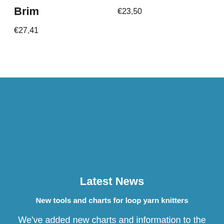Brim
€23,50
€27,41
Latest News
New tools and charts for loop yarn knitters
We've added new charts and information to the website to help you with your loop yarn knitting, as well as some special new downloadable tools.
[Figure (logo): Red circle with rainbow/compass icon]
Support
Search
Contact me
Chat with us